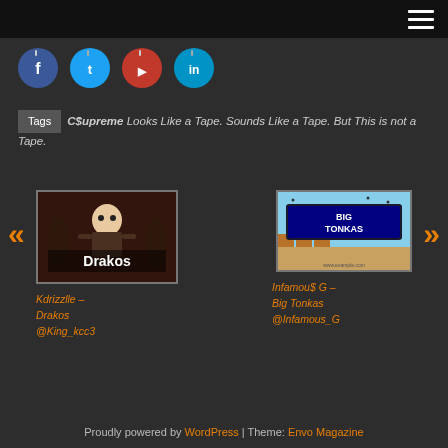[Figure (other): Dark top navigation bar with hamburger menu icon (three white horizontal lines) on the right]
[Figure (infographic): Row of four social media icon circles: Facebook (blue), Twitter (light blue), YouTube/Pinterest (red), LinkedIn/other (teal-blue)]
Tags  C$upreme  Looks Like a Tape. Sounds Like a Tape. But This is not a Tape.
[Figure (photo): Album/mixtape cover for Kdrizzlle - Drakos showing an animated character with text 'Drakos' overlaid]
Kdrizzlle – Drakos @King_kcc3
[Figure (photo): Thumbnail image for Infamous G - Big Tonkas showing a retro game style graphic with 'BIG TONKAS' text]
Infamou$ G – Big Tonkas @Infamous_G
Proudly powered by WordPress | Theme: Envo Magazine